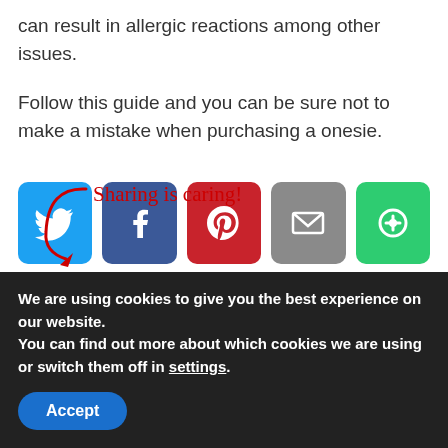can result in allergic reactions among other issues.
Follow this guide and you can be sure not to make a mistake when purchasing a onesie.
[Figure (infographic): Sharing is caring! text with a red arrow pointing to social media share buttons: Twitter (blue), Facebook (dark blue), Pinterest (red), Email (gray), Save/Flipboard (green)]
You may also like:
[Figure (photo): Two partially visible thumbnail images at the bottom of the page]
We are using cookies to give you the best experience on our website.
You can find out more about which cookies we are using or switch them off in settings.